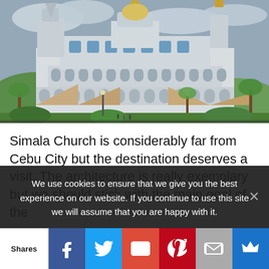[Figure (photo): Simala Church / Monastery of the Holy Eucharist in Cebu, Philippines — a large ornate white castle-like church with golden spires, multiple arched terraces, wide staircases, surrounded by palm trees and lush greenery under a cloudy sky.]
Simala Church is considerably far from Cebu City but the destination deserves a visit. The architecture is really exemplary but we should stick with the main goal of the
We use cookies to ensure that we give you the best experience on our website. If you continue to use this site we will assume that you are happy with it.
Shares